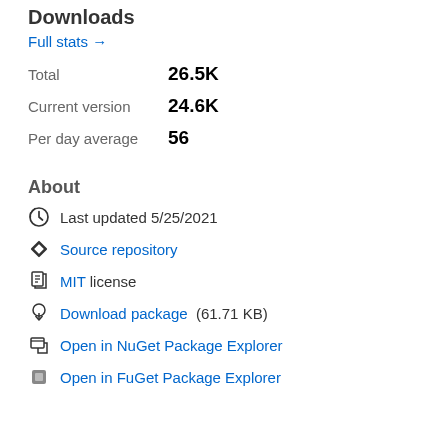Downloads
Full stats →
Total   26.5K
Current version   24.6K
Per day average   56
About
Last updated 5/25/2021
Source repository
MIT license
Download package  (61.71 KB)
Open in NuGet Package Explorer
Open in FuGet Package Explorer